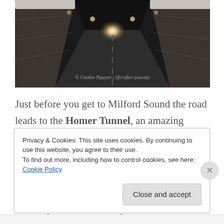[Figure (photo): Interior of the Homer Tunnel, a dark road tunnel carved through rock, with light visible at the far end, stone walls on both sides, with a watermark/credit text overlay]
Just before you get to Milford Sound the road leads to the Homer Tunnel, an amazing achievement of the early pioneers.  Before it opened in 1954 , there was no road access to Milford Sound. This 1.2km-long tunnel was carved out of a solid rock cliff. The men building the tunnel and their families camped on site for the duration of the...
Privacy & Cookies: This site uses cookies. By continuing to use this website, you agree to their use.
To find out more, including how to control cookies, see here: Cookie Policy
Close and accept